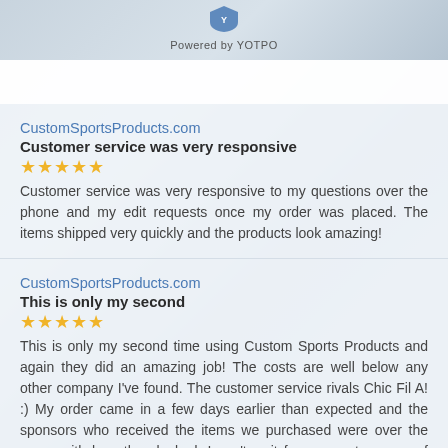Powered by YOTPO
CustomSportsProducts.com
Customer service was very responsive
★★★★★
Customer service was very responsive to my questions over the phone and my edit requests once my order was placed. The items shipped very quickly and the products look amazing!
CustomSportsProducts.com
This is only my second
★★★★★
This is only my second time using Custom Sports Products and again they did an amazing job! The costs are well below any other company I've found. The customer service rivals Chic Fil A! :) My order came in a few days earlier than expected and the sponsors who received the items we purchased were over the moon with how they looked. I can't wait for our next season of baseball so I can order more products. Keep up the great work!